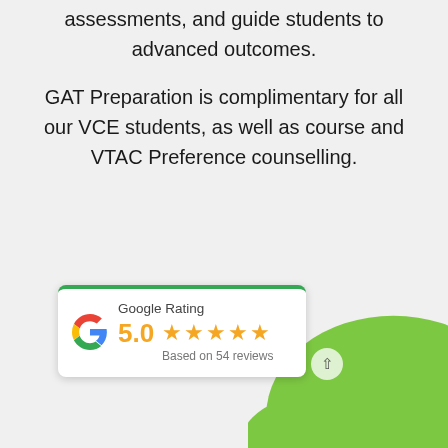assessments, and guide students to advanced outcomes.
GAT Preparation is complimentary for all our VCE students, as well as course and VTAC Preference counselling.
[Figure (other): Google Rating card showing 5.0 stars based on 54 reviews, with Google G logo and green top border. Below and to the right is a green decorative blob shape.]